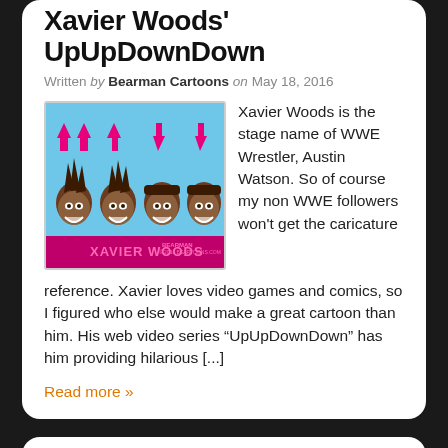Xavier Woods' UpUpDownDown
Written by Bearman Cartoons on May 18, 2016
[Figure (illustration): Cartoon caricature of Xavier Woods showing four versions of the character with up and down arrows above them, labeled 'XAVIER WOODS' in pink text at the bottom with Bearman branding]
Xavier Woods is the stage name of WWE Wrestler, Austin Watson.  So of course my non WWE followers won't get the caricature reference.  Xavier loves video games and comics, so I figured who else would make a great cartoon than him.  His web video series “UpUpDownDown” has him providing hilarious [...]
Read more »
RIP Prince